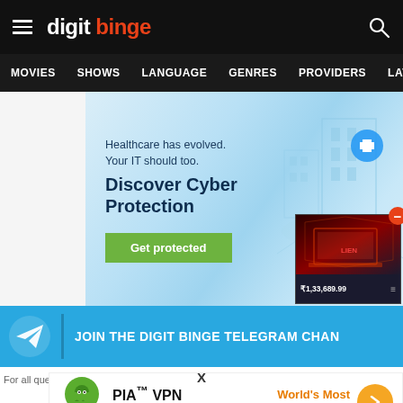digit binge
MOVIES   SHOWS   LANGUAGE   GENRES   PROVIDERS   LATE
[Figure (screenshot): Cyber security advertisement banner with light blue gradient background, hospital building illustration, headline 'Healthcare has evolved. Your IT should too. Discover Cyber Protection' and a green 'Get protected' button]
[Figure (photo): Product popup showing a laptop/gaming product box with price ₹1,33,689.99 and a red minus/close button]
JOIN THE DIGIT BINGE TELEGRAM CHAN
X
For all que
[Figure (screenshot): PIA VPN advertisement: Private Internet Access logo, 'PIA™ VPN Official Site', 'World's Most Trusted VPN' in orange, orange arrow button]